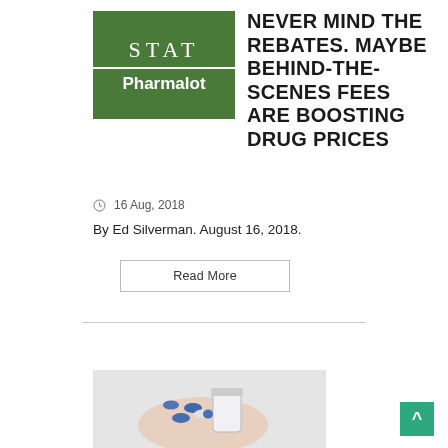[Figure (logo): STAT Pharmalot logo — dark green square with 'STAT' in white serif font above a white line and 'Pharmalot' in white bold sans-serif]
NEVER MIND THE REBATES. MAYBE BEHIND-THE-SCENES FEES ARE BOOSTING DRUG PRICES
16 Aug, 2018
By Ed Silverman. August 16, 2018.
Read More
[Figure (photo): Hand holding pills/capsules being poured from a medicine bottle]